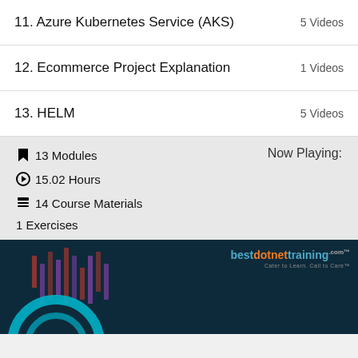11. Azure Kubernetes Service (AKS) — 5 Videos
12. Ecommerce Project Explanation — 1 Videos
13. HELM — 5 Videos
🔖 13 Modules
Now Playing:
▶ 15.02 Hours
📋 14 Course Materials
1 Exercises
[Figure (logo): bestdotnettraining.com logo with tagline 'Cater to Learn, Call to Care']